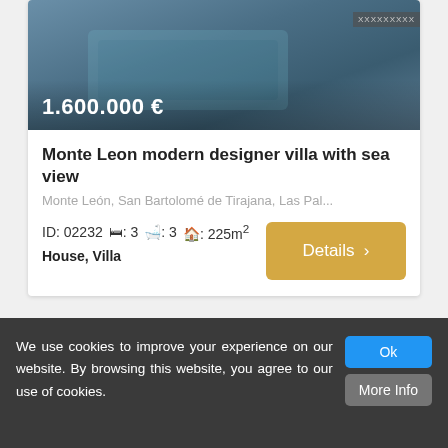[Figure (photo): Aerial or exterior photo of a modern villa with swimming pool, teal/blue tones, price overlay showing 1.600.000 €]
Monte Leon modern designer villa with sea view
Monte León, San Bartolomé de Tirajana, Las Pal...
ID: 02232   🛏: 3   🛁: 3   🏠: 225m²  House, Villa
We use cookies to improve your experience on our website. By browsing this website, you agree to our use of cookies.